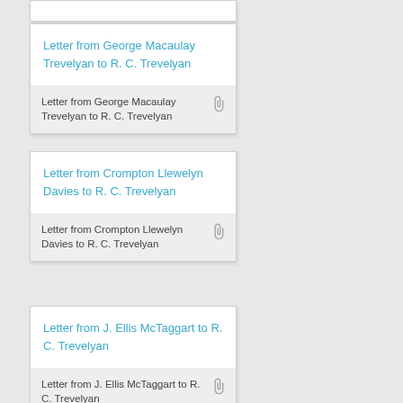Letter from George Macaulay Trevelyan to R. C. Trevelyan
Letter from George Macaulay Trevelyan to R. C. Trevelyan
Letter from Crompton Llewelyn Davies to R. C. Trevelyan
Letter from Crompton Llewelyn Davies to R. C. Trevelyan
Letter from J. Ellis McTaggart to R. C. Trevelyan
Letter from J. Ellis McTaggart to R. C. Trevelyan